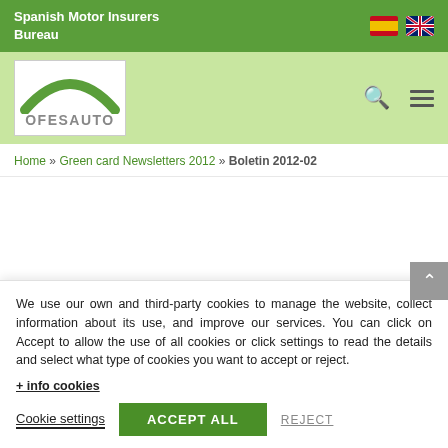Spanish Motor Insurers Bureau
[Figure (logo): OFESAUTO logo with green arch and white background]
Home » Green card Newsletters 2012 » Boletin 2012-02
We use our own and third-party cookies to manage the website, collect information about its use, and improve our services. You can click on Accept to allow the use of all cookies or click settings to read the details and select what type of cookies you want to accept or reject.
+ info cookies
Cookie settings
ACCEPT ALL
REJECT